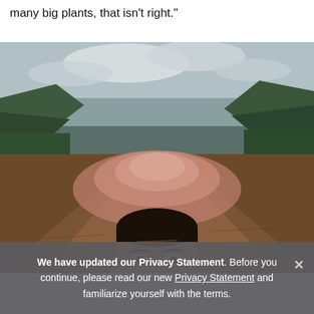many big plants, that isn't right."
[Figure (photo): A man on a boat in a brown muddy river with mountains and green forest in the background. A large pinkish-brown sediment plume is visible in the river water. The man's face is visible from the nose up, looking at the camera.]
We have updated our Privacy Statement. Before you continue, please read our new Privacy Statement and familiarize yourself with the terms.